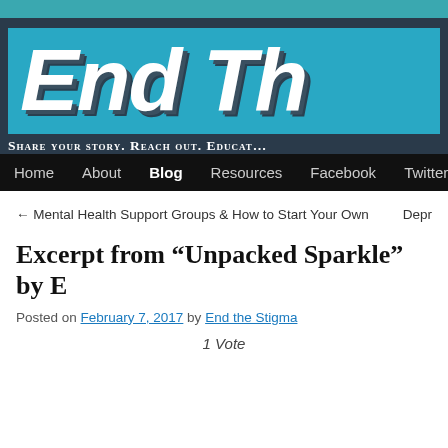[Figure (screenshot): Website header banner for 'End the Stigma' showing large white stylized text 'End Th' (cropped) on a bright blue background with tagline 'Share your story. Reach out. Educate.' and navigation bar with links: Home, About, Blog, Resources, Facebook, Twitter]
← Mental Health Support Groups & How to Start Your Own
Depr
Excerpt from “Unpacked Sparkle” by E
Posted on February 7, 2017 by End the Stigma
1 Vote